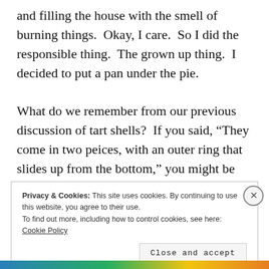and filling the house with the smell of burning things.  Okay, I care.  So I did the responsible thing.  The grown up thing.  I decided to put a pan under the pie.

What do we remember from our previous discussion of tart shells?  If you said, “They come in two peices, with an outer ring that slides up from the bottom,” you might be able
Privacy & Cookies: This site uses cookies. By continuing to use this website, you agree to their use.
To find out more, including how to control cookies, see here: Cookie Policy
Close and accept